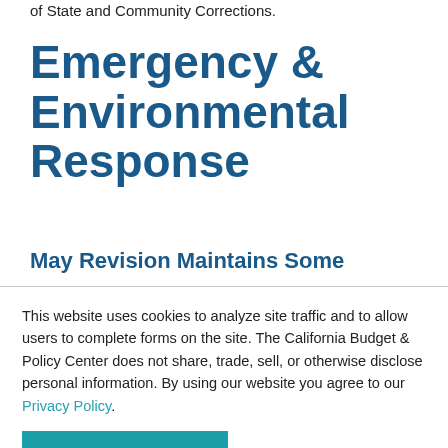of State and Community Corrections.
Emergency & Environmental Response
May Revision Maintains Some
This website uses cookies to analyze site traffic and to allow users to complete forms on the site. The California Budget & Policy Center does not share, trade, sell, or otherwise disclose personal information. By using our website you agree to our Privacy Policy.
Accept Cookies